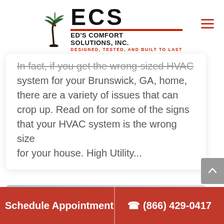[Figure (logo): ECS Ed's Comfort Solutions, Inc. logo with palm tree graphic and tagline DESIGNED, TESTED, AND BUILT TO LAST]
In fact, if you get the wrong-sized HVAC system for your Brunswick, GA, home, there are a variety of issues that can crop up. Read on for some of the signs that your HVAC system is the wrong size for your house. High Utility...
[Figure (photo): Outdoor photo partially visible, light blue sky and building edge]
Schedule Appointment   ☎ (866) 429-0417